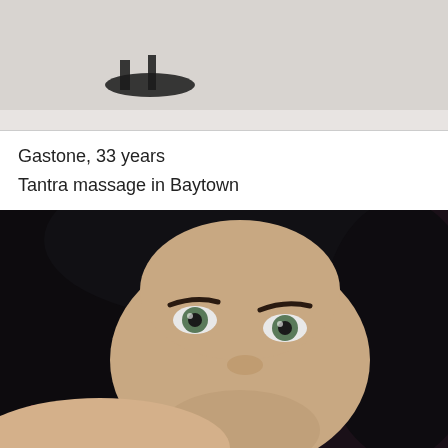[Figure (photo): Top portion of a photo showing what appears to be shoes/sandals on a light surface]
Gastone, 33 years
Tantra massage in Baytown
[Figure (photo): Close-up selfie photo of a woman with dark hair and light eyes]